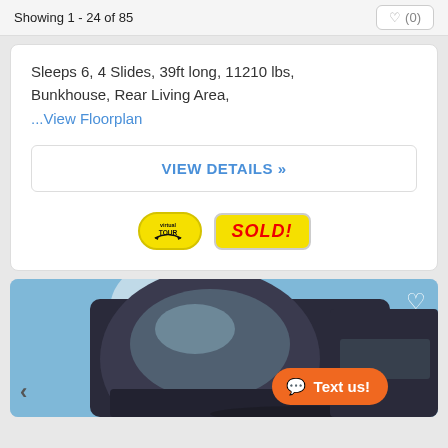Showing 1 - 24 of 85   ♥ (0)
Sleeps 6,  4 Slides,  39ft long,  11210 lbs,  Bunkhouse,  Rear Living Area,
...View Floorplan
VIEW DETAILS »
[Figure (infographic): Virtual Tour badge (yellow oval with arrow icon and 'virtual TOUR' text) and SOLD! badge (yellow rounded rectangle with red bold italic SOLD! text)]
[Figure (photo): Photo of an RV/travel trailer with rounded front, blue sky background. Navigation arrows on sides. Heart icon top right. Text us button bottom right.]